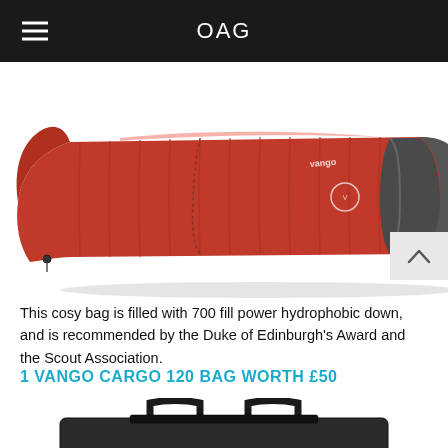OAG
[Figure (photo): Red and grey Vango mummy sleeping bag, shown from above, open at the top revealing grey lining, laid diagonally on a white background.]
This cosy bag is filled with 700 fill power hydrophobic down, and is recommended by the Duke of Edinburgh's Award and the Scout Association.
1 VANGO CARGO 120 BAG WORTH £50
[Figure (photo): Black Vango Cargo 120 bag with handles and straps, partially visible at the bottom of the page.]